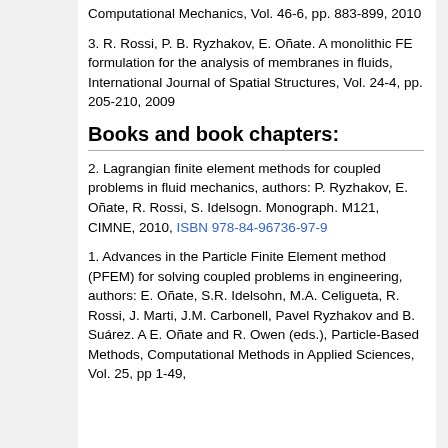Computational Mechanics, Vol. 46-6, pp. 883-899, 2010
3. R. Rossi, P. B. Ryzhakov, E. Oñate. A monolithic FE formulation for the analysis of membranes in fluids, International Journal of Spatial Structures, Vol. 24-4, pp. 205-210, 2009
Books and book chapters:
2. Lagrangian finite element methods for coupled problems in fluid mechanics, authors: P. Ryzhakov, E. Oñate, R. Rossi, S. Idelsogn. Monograph. M121, CIMNE, 2010, ISBN 978-84-96736-97-9
1. Advances in the Particle Finite Element method (PFEM) for solving coupled problems in engineering, authors: E. Oñate, S.R. Idelsohn, M.A. Celigueta, R. Rossi, J. Marti, J.M. Carbonell, Pavel Ryzhakov and B. Suárez. A E. Oñate and R. Owen (eds.), Particle-Based Methods, Computational Methods in Applied Sciences, Vol. 25, pp 1-49,